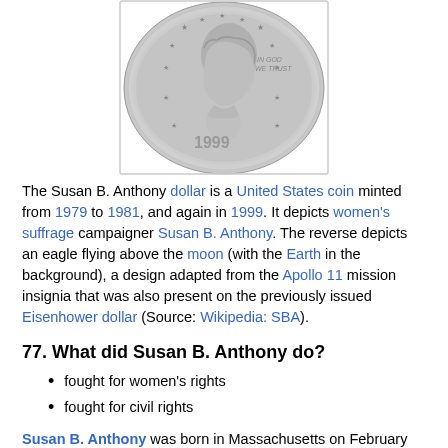[Figure (photo): A Susan B. Anthony dollar coin from 1999 showing the obverse (heads) side with her portrait. Text reads 'IN GOD WE TRUST' and '1999'. Stars circle the rim.]
The Susan B. Anthony dollar is a United States coin minted from 1979 to 1981, and again in 1999. It depicts women's suffrage campaigner Susan B. Anthony. The reverse depicts an eagle flying above the moon (with the Earth in the background), a design adapted from the Apollo 11 mission insignia that was also present on the previously issued Eisenhower dollar (Source: Wikipedia: SBA).
77. What did Susan B. Anthony do?
fought for women's rights
fought for civil rights
Susan B. Anthony was born in Massachusetts on February